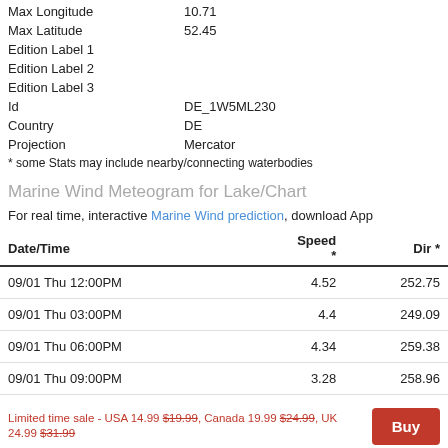|  |  |
| --- | --- |
| Max Longitude | 10.71 |
| Max Latitude | 52.45 |
| Edition Label 1 |  |
| Edition Label 2 |  |
| Edition Label 3 |  |
| Id | DE_1W5ML230 |
| Country | DE |
| Projection | Mercator |
* some Stats may include nearby/connecting waterbodies
Marine Wind Meteogram for Lake/Chart
For real time, interactive Marine Wind prediction, download App
| Date/Time | Speed * | Dir * |
| --- | --- | --- |
| 09/01 Thu 12:00PM | 4.52 | 252.75 |
| 09/01 Thu 03:00PM | 4.4 | 249.09 |
| 09/01 Thu 06:00PM | 4.34 | 259.38 |
| 09/01 Thu 09:00PM | 3.28 | 258.96 |
Limited time sale - USA 14.99 $19.99, Canada 19.99 $24.99, UK 24.99 $31.99